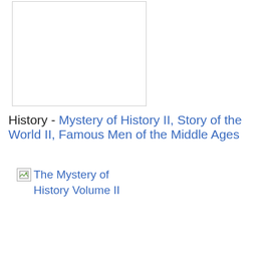[Figure (other): Empty white rectangle with thin border — placeholder image area]
History - Mystery of History II, Story of the World II, Famous Men of the Middle Ages
[Figure (other): Broken image icon with alt text: The Mystery of History Volume II]